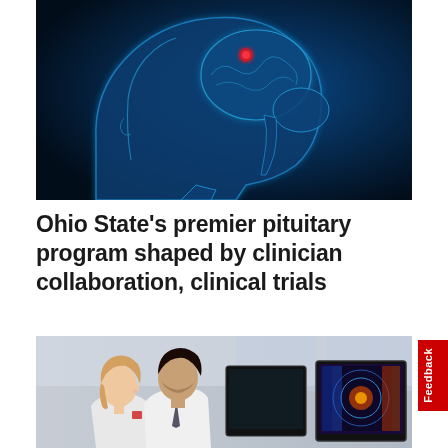[Figure (photo): Medical illustration of a human head in profile with glowing blue brain anatomy visible, showing a highlighted red/pink spot indicating the pituitary gland location]
Ohio State's premier pituitary program shaped by clinician collaboration, clinical trials
[Figure (photo): Two medical professionals in white lab coats looking at computer monitors displaying medical imaging scans, in a clinical or research setting]